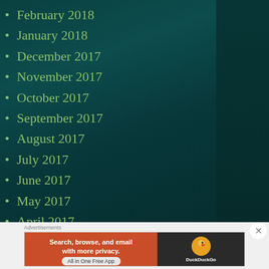February 2018
January 2018
December 2017
November 2017
October 2017
September 2017
August 2017
July 2017
June 2017
May 2017
April 2017
March 2017
February 2017
[Figure (screenshot): DuckDuckGo advertisement banner: orange left panel with text 'Search, browse, and email with more privacy. All in One Free App' and dark right panel with DuckDuckGo duck logo]